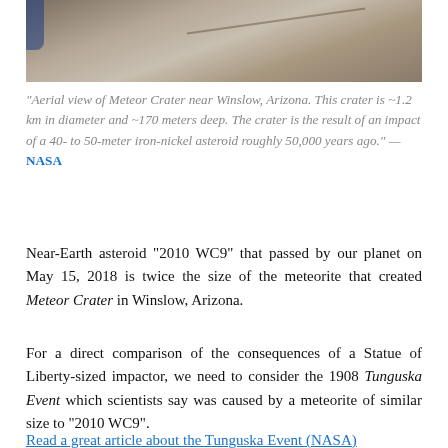[Figure (photo): Aerial view of Meteor Crater near Winslow, Arizona — a large circular impact crater in an arid desert landscape, seen from above.]
“Aerial view of Meteor Crater near Winslow, Arizona. This crater is ~1.2 km in diameter and ~170 meters deep. The crater is the result of an impact of a 40- to 50-meter iron-nickel asteroid roughly 50,000 years ago.” — NASA
Near-Earth asteroid “2010 WC9” that passed by our planet on May 15, 2018 is twice the size of the meteorite that created Meteor Crater in Winslow, Arizona.
For a direct comparison of the consequences of a Statue of Liberty-sized impactor, we need to consider the 1908 Tunguska Event which scientists say was caused by a meteorite of similar size to “2010 WC9”.
Read a great article about the Tunguska Event (NASA)